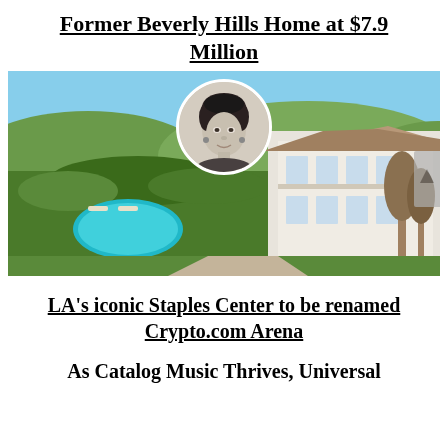Former Beverly Hills Home at $7.9 Million
[Figure (photo): Aerial photo of a large Beverly Hills estate with a pool, gardens, and a large white house, with a circular black-and-white portrait inset of a young woman overlaid at the top center]
LA's iconic Staples Center to be renamed Crypto.com Arena
As Catalog Music Thrives, Universal